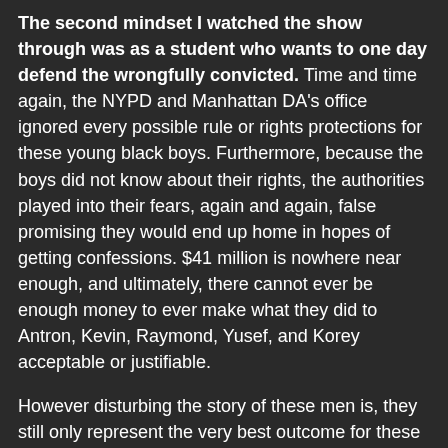The second mindset I watched the show through was as a student who wants to one day defend the wrongfully convicted. Time and time again, the NYPD and Manhattan DA's office ignored every possible rule or rights protections for these young black boys. Furthermore, because the boys did not know about their rights, the authorities played into their fears, again and again, false promising they would end up home in hopes of getting confessions. $41 million is nowhere near enough, and ultimately, there cannot ever be enough money to ever make what they did to Antron, Kevin, Raymond, Yusef, and Korey acceptable or justifiable.
However disturbing the story of these men is, they still only represent the very best outcome for these circumstances. Thousands of citizens, predominately people of color, plea guilty and lack the proper defense for crimes they did not commit. That is the horrible state of the justice system...